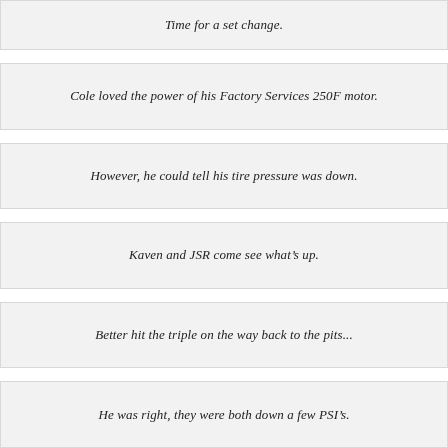Time for a set change.
Cole loved the power of his Factory Services 250F motor.
However, he could tell his tire pressure was down.
Kaven and JSR come see what’s up.
Better hit the triple on the way back to the pits...
He was right, they were both down a few PSI’s.